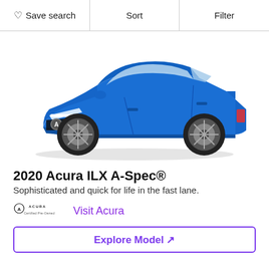Save search  Sort  Filter
[Figure (photo): 2020 Acura ILX A-Spec in blue, front three-quarter view on white background]
2020 Acura ILX A-Spec®
Sophisticated and quick for life in the fast lane.
ACURA Certified Pre-Owned   Visit Acura
Explore Model ↗